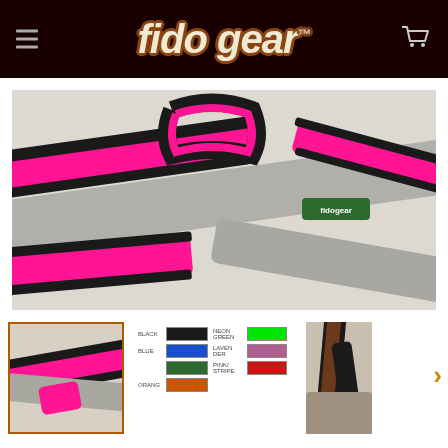fido gear
[Figure (photo): Close-up photo of a pink and black neoprene dog harness with reflective grey webbing and a Fido Gear branded rubber patch, displayed on a white surface]
[Figure (photo): Thumbnail of the pink/black dog harness from a slightly different angle, shown with an orange border indicating selected state]
[Figure (infographic): Color swatch chart showing available harness color combinations: Black, Blue, Green (NEON GREEN), Lavender, Red on grey/reflective backgrounds]
[Figure (photo): Thumbnail photo of a dark brown/black dog harness strap detail]